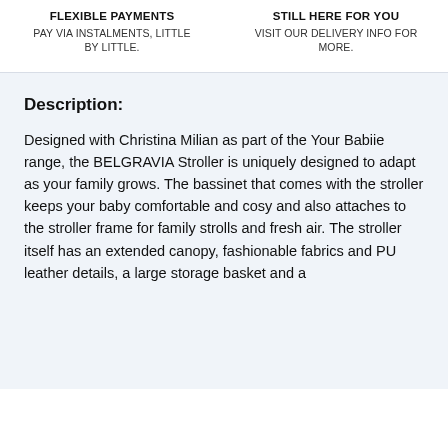FLEXIBLE PAYMENTS
PAY VIA INSTALMENTS, LITTLE BY LITTLE.
STILL HERE FOR YOU
VISIT OUR DELIVERY INFO FOR MORE.
Description:
Designed with Christina Milian as part of the Your Babiie range, the BELGRAVIA Stroller is uniquely designed to adapt as your family grows. The bassinet that comes with the stroller keeps your baby comfortable and cosy and also attaches to the stroller frame for family strolls and fresh air. The stroller itself has an extended canopy, fashionable fabrics and PU leather details, a large storage basket and a